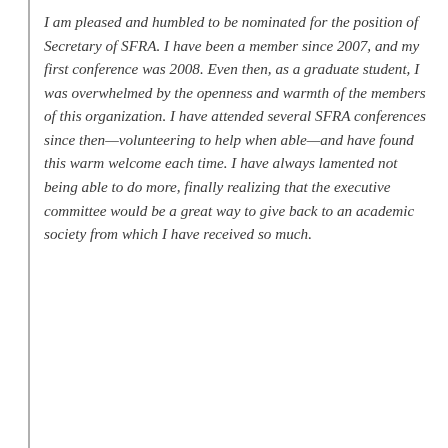I am pleased and humbled to be nominated for the position of Secretary of SFRA. I have been a member since 2007, and my first conference was 2008. Even then, as a graduate student, I was overwhelmed by the openness and warmth of the members of this organization. I have attended several SFRA conferences since then—volunteering to help when able—and have found this warm welcome each time. I have always lamented not being able to do more, finally realizing that the executive committee would be a great way to give back to an academic society from which I have received so much.